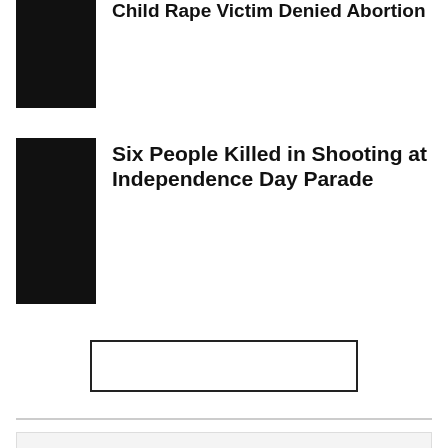[Figure (photo): Black thumbnail image for news article about child rape victim denied abortion]
Child Rape Victim Denied Abortion
[Figure (photo): Black thumbnail image for news article about shooting at Independence Day Parade]
Six People Killed in Shooting at Independence Day Parade
RECENT POSTS